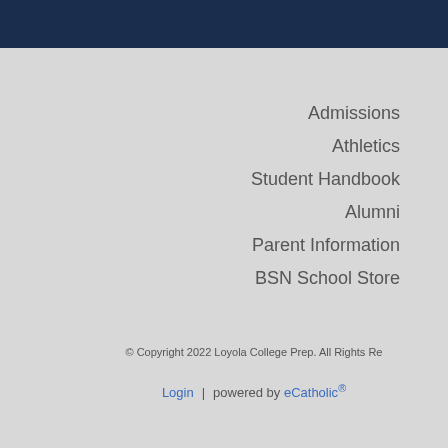Admissions
Athletics
Student Handbook
Alumni
Parent Information
BSN School Store
© Copyright 2022 Loyola College Prep.  All Rights Reserved.
Login | powered by eCatholic®